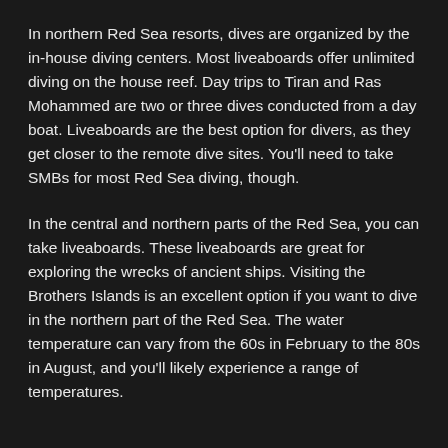In northern Red Sea resorts, dives are organized by the in-house diving centers. Most liveaboards offer unlimited diving on the house reef. Day trips to Tiran and Ras Mohammed are two or three dives conducted from a day boat. Liveaboards are the best option for divers, as they get closer to the remote dive sites. You'll need to take SMBs for most Red Sea diving, though.
In the central and northern parts of the Red Sea, you can take liveaboards. These liveaboards are great for exploring the wrecks of ancient ships. Visiting the Brothers Islands is an excellent option if you want to dive in the northern part of the Red Sea. The water temperature can vary from the 60s in February to the 80s in August, and you'll likely experience a range of temperatures.